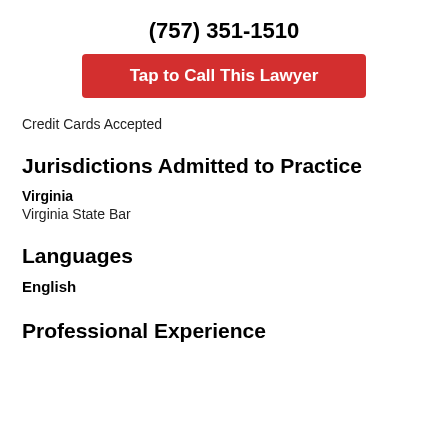(757) 351-1510
Tap to Call This Lawyer
Credit Cards Accepted
Jurisdictions Admitted to Practice
Virginia
Virginia State Bar
Languages
English
Professional Experience